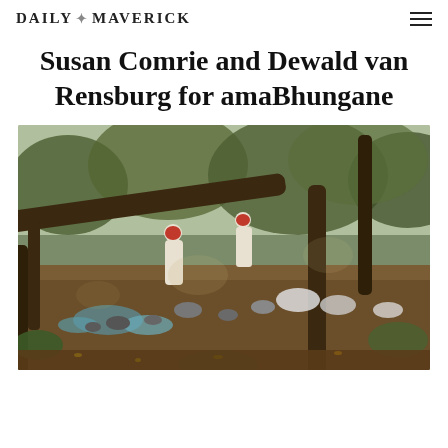DAILY MAVERICK
Susan Comrie and Dewald van Rensburg for amaBhungane
[Figure (photo): Outdoor scene showing people dressed in white robes with red head coverings near a rocky stream bed in a forested area with trees and dappled sunlight.]